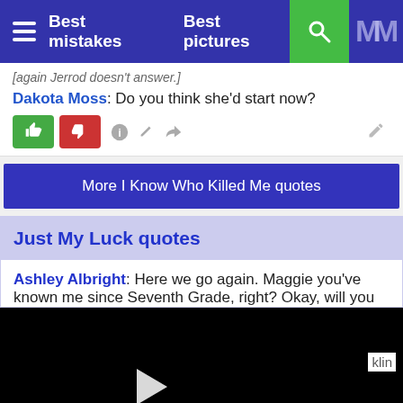Best mistakes   Best pictures
[again Jerrod doesn't answer.]
Dakota Moss: Do you think she'd start now?
More I Know Who Killed Me quotes
Just My Luck quotes
Ashley Albright: Here we go again. Maggie you've known me since Seventh Grade, right? Okay, will you
[Figure (screenshot): Black video player with play button and partial sidebar text 'klin']